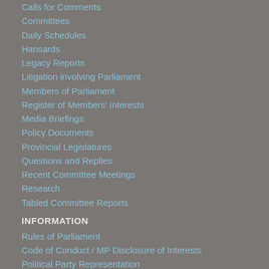Calls for Comments
Committees
Daily Schedules
Hansards
Legacy Reports
Litigation involving Parliament
Members of Parliament
Register of Members' Interests
Media Briefings
Policy Documents
Provincial Legislatures
Questions and Replies
Recent Committee Meetings
Research
Tabled Committee Reports
INFORMATION
Rules of Parliament
Code of Conduct / MP Disclosure of Interests
Political Party Representation
Legislative Process & Government
Parliamentary Programme
LINKS